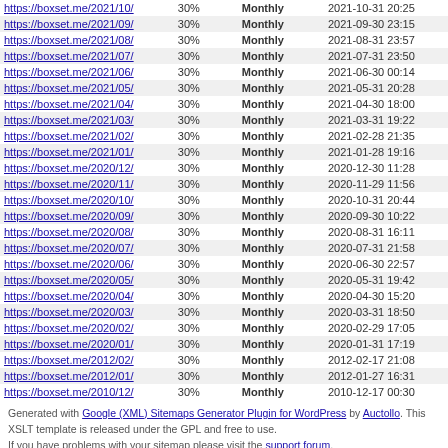| URL | Priority | Freq | Last Modified |
| --- | --- | --- | --- |
| https://boxset.me/2021/10/ | 30% | Monthly | 2021-10-31 20:25 |
| https://boxset.me/2021/09/ | 30% | Monthly | 2021-09-30 23:15 |
| https://boxset.me/2021/08/ | 30% | Monthly | 2021-08-31 23:57 |
| https://boxset.me/2021/07/ | 30% | Monthly | 2021-07-31 23:50 |
| https://boxset.me/2021/06/ | 30% | Monthly | 2021-06-30 00:14 |
| https://boxset.me/2021/05/ | 30% | Monthly | 2021-05-31 20:28 |
| https://boxset.me/2021/04/ | 30% | Monthly | 2021-04-30 18:00 |
| https://boxset.me/2021/03/ | 30% | Monthly | 2021-03-31 19:22 |
| https://boxset.me/2021/02/ | 30% | Monthly | 2021-02-28 21:35 |
| https://boxset.me/2021/01/ | 30% | Monthly | 2021-01-28 19:16 |
| https://boxset.me/2020/12/ | 30% | Monthly | 2020-12-30 11:28 |
| https://boxset.me/2020/11/ | 30% | Monthly | 2020-11-29 11:56 |
| https://boxset.me/2020/10/ | 30% | Monthly | 2020-10-31 20:44 |
| https://boxset.me/2020/09/ | 30% | Monthly | 2020-09-30 10:22 |
| https://boxset.me/2020/08/ | 30% | Monthly | 2020-08-31 16:11 |
| https://boxset.me/2020/07/ | 30% | Monthly | 2020-07-31 21:58 |
| https://boxset.me/2020/06/ | 30% | Monthly | 2020-06-30 22:57 |
| https://boxset.me/2020/05/ | 30% | Monthly | 2020-05-31 19:42 |
| https://boxset.me/2020/04/ | 30% | Monthly | 2020-04-30 15:20 |
| https://boxset.me/2020/03/ | 30% | Monthly | 2020-03-31 18:50 |
| https://boxset.me/2020/02/ | 30% | Monthly | 2020-02-29 17:05 |
| https://boxset.me/2020/01/ | 30% | Monthly | 2020-01-31 17:19 |
| https://boxset.me/2012/02/ | 30% | Monthly | 2012-02-17 21:08 |
| https://boxset.me/2012/01/ | 30% | Monthly | 2012-01-27 16:31 |
| https://boxset.me/2010/12/ | 30% | Monthly | 2010-12-17 00:30 |
Generated with Google (XML) Sitemaps Generator Plugin for WordPress by Auctollo. This XSLT template is released under the GPL and free to use. If you have problems with your sitemap please visit the support forum.